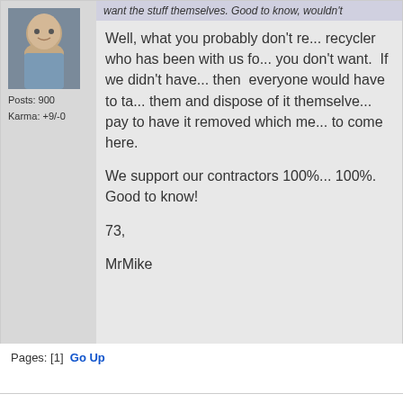[Figure (photo): Profile photo of a man in a blue shirt outdoors]
Posts: 900
Karma: +9/-0
want the stuff themselves. Good to know, wouldn't
Well, what you probably don't re... recycler who has been with us fo... you don't want. If we didn't have... then everyone would have to ta... them and dispose of it themselve... pay to have it removed which me... to come here.

We support our contractors 100%... 100%. Good to know!

73,

MrMike
Pages: [1]  Go Up